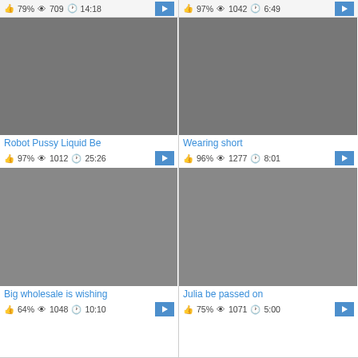[Figure (screenshot): Video grid showing adult video thumbnails with metadata (like percentage, view count, duration) and play buttons. Four video cards visible.]
79% 709 14:18
97% 1042 6:49
Robot Pussy Liquid Be
97% 1012 25:26
Wearing short
96% 1277 8:01
Big wholesale is wishing
64% 1048 10:10
Julia be passed on
75% 1071 5:00